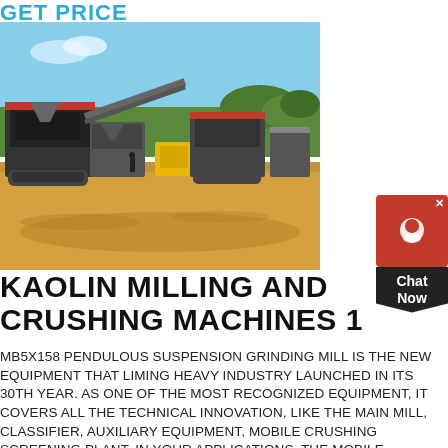GET PRICE
[Figure (photo): Outdoor mining/crushing plant with multiple mobile crushing and screening machines on sandy ground with trees and blue sky in background.]
KAOLIN MILLING AND CRUSHING MACHINES 1
MB5X158 PENDULOUS SUSPENSION GRINDING MILL IS THE NEW EQUIPMENT THAT LIMING HEAVY INDUSTRY LAUNCHED IN ITS 30TH YEAR. AS ONE OF THE MOST RECOGNIZED EQUIPMENT, IT COVERS ALL THE TECHNICAL INNOVATION, LIKE THE MAIN MILL, CLASSIFIER, AUXILIARY EQUIPMENT, MOBILE CRUSHING SCREENING PLANT. IN YOUR APPLICATIONS, THE MOBILE CRUSHER EQUIPPED WITH HIGH-EFFICIENCY CS, HST, OR HRT SERIES CONE CRUSHER CAN